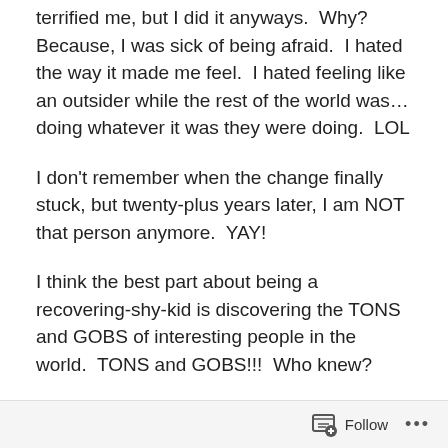terrified me, but I did it anyways.  Why?  Because, I was sick of being afraid.  I hated the way it made me feel.  I hated feeling like an outsider while the rest of the world was…doing whatever it was they were doing.  LOL
I don't remember when the change finally stuck, but twenty-plus years later, I am NOT that person anymore.  YAY!
I think the best part about being a recovering-shy-kid is discovering the TONS and GOBS of interesting people in the world.  TONS and GOBS!!!  Who knew?
I work in a job where I am required to talk to many, MANY strangers, EVERYDAY.  I didn't have to work with the public.  I could have found a job where I could sit and hide in a nice cubicle and file "TPS" reports or something.
Follow